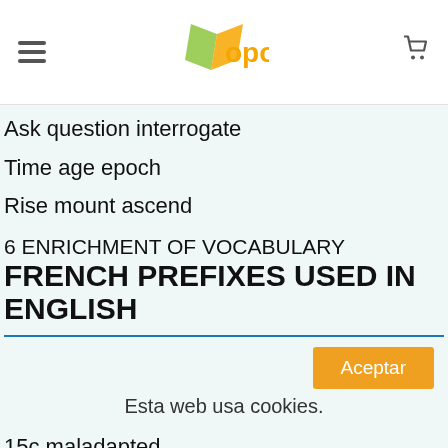oposinet
Ask question interrogate
Time age epoch
Rise mount ascend
6 ENRICHMENT OF VOCABULARY
FRENCH PREFIXES USED IN ENGLISH
Esta web usa cookies.
15c maladapted.